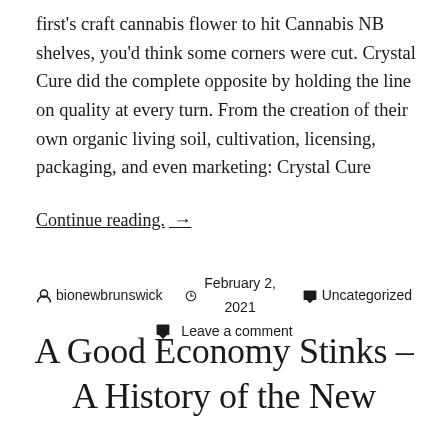first's craft cannabis flower to hit Cannabis NB shelves, you'd think some corners were cut. Crystal Cure did the complete opposite by holding the line on quality at every turn. From the creation of their own organic living soil, cultivation, licensing, packaging, and even marketing: Crystal Cure
Continue reading. →
bionewbrunswick   February 2, 2021   Uncategorized   Leave a comment
A Good Economy Stinks – A History of the New